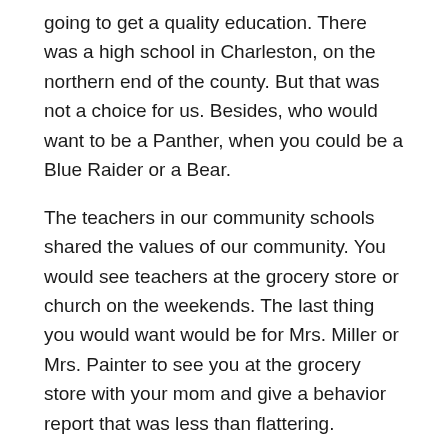going to get a quality education. There was a high school in Charleston, on the northern end of the county. But that was not a choice for us. Besides, who would want to be a Panther, when you could be a Blue Raider or a Bear.
The teachers in our community schools shared the values of our community. You would see teachers at the grocery store or church on the weekends. The last thing you would want would be for Mrs. Miller or Mrs. Painter to see you at the grocery store with your mom and give a behavior report that was less than flattering.
That didn't mean we didn't get in trouble. We just knew that somewhere there was a line you didn't cross, and if you did then your teacher and your parent would meet at the school or in public and the outcome would not be pleasant for you when you got home. Parents